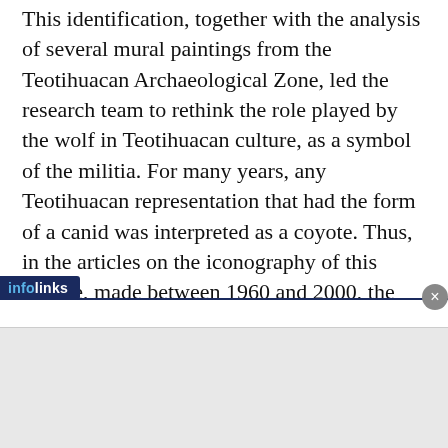This identification, together with the analysis of several mural paintings from the Teotihuacan Archaeological Zone, led the research team to rethink the role played by the wolf in Teotihuacan culture, as a symbol of the militia. For many years, any Teotihuacan representation that had the form of a canid was interpreted as a coyote. Thus, in the articles on the iconography of this culture, made between 1960 and 2000, the interpretation of a form of canid was associated with the coyote.
Now there is archaeozoological information that shows that for every coyote skeleton discovered